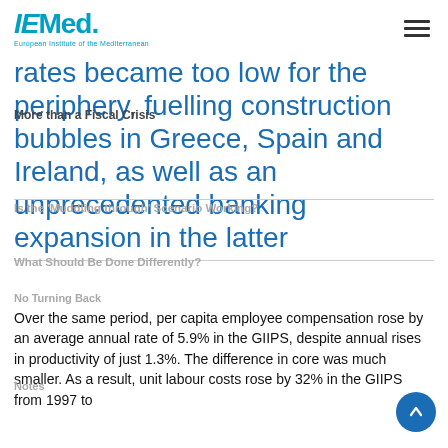IEMed. European Institute of the Mediterranean
rates became too low for the periphery, fuelling construction bubbles in Greece, Spain and Ireland, as well as an unprecedented banking expansion in the latter
More than a Fiscal Crisis
Is the 'Muddling through' Scenario Working?
What Should Be Done Differently?
No Turning Back
Notes
Over the same period, per capita employee compensation rose by an average annual rate of 5.9% in the GIIPS, despite annual rises in productivity of just 1.3%. The difference in core was much smaller. As a result, unit labour costs rose by 32% in the GIIPS from 1997 to